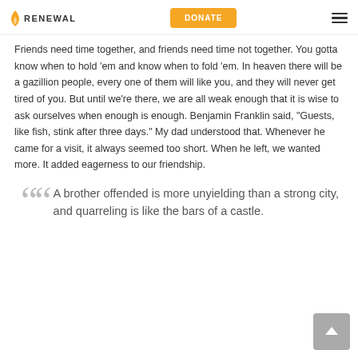RENEWAL | DONATE
Friends need time together, and friends need time not together. You gotta know when to hold ‘em and know when to fold ‘em. In heaven there will be a gazillion people, every one of them will like you, and they will never get tired of you. But until we’re there, we are all weak enough that it is wise to ask ourselves when enough is enough. Benjamin Franklin said, “Guests, like fish, stink after three days.” My dad understood that. Whenever he came for a visit, it always seemed too short. When he left, we wanted more. It added eagerness to our friendship.
““ A brother offended is more unyielding than a strong city, and quarreling is like the bars of a castle.